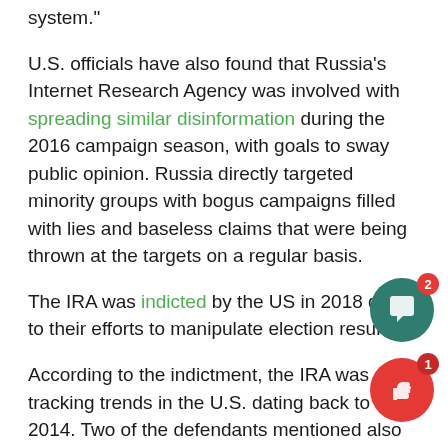system."
U.S. officials have also found that Russia's Internet Research Agency was involved with spreading similar disinformation during the 2016 campaign season, with goals to sway public opinion. Russia directly targeted minority groups with bogus campaigns filled with lies and baseless claims that were being thrown at the targets on a regular basis.
The IRA was indicted by the US in 2018 due to their efforts to manipulate election results.
According to the indictment, the IRA was tracking trends in the U.S. dating back to 2014. Two of the defendants mentioned also travelled to states such as Nevada, California, and New Mexico. Another defendant travelled to Atlanta. They claimed that they were traveling for personal reasons.